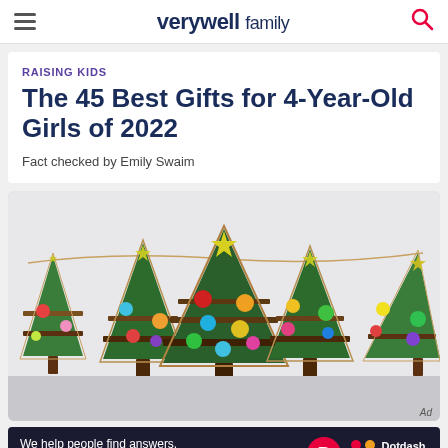verywell family
RAISING KIDS
The 45 Best Gifts for 4-Year-Old Girls of 2022
Fact checked by Emily Swaim
[Figure (photo): Five handmade Christmas trees made from greenery and burlap triangles decorated with colorful felt ball ornaments, hanging on a string garland against a white background.]
We help people find answers, solve problems and get inspired. Dotdash meredith